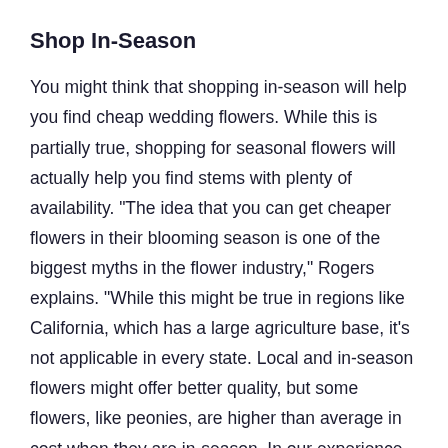Shop In-Season
You might think that shopping in-season will help you find cheap wedding flowers. While this is partially true, shopping for seasonal flowers will actually help you find stems with plenty of availability. "The idea that you can get cheaper flowers in their blooming season is one of the biggest myths in the flower industry," Rogers explains. "While this might be true in regions like California, which has a large agriculture base, it's not applicable in every state. Local and in-season flowers might offer better quality, but some flowers, like peonies, are higher than average in cost when they are in-season. In our experience, seasonality corresponds